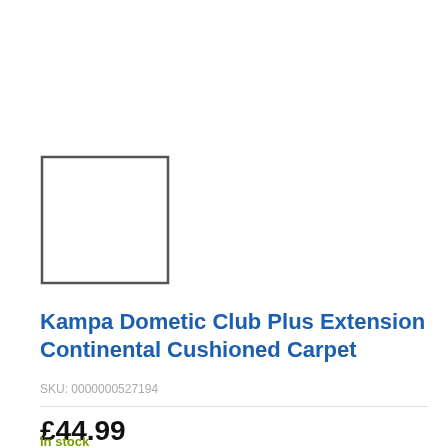[Figure (other): Empty product image placeholder — white rectangle with dark grey border]
Kampa Dometic Club Plus Extension Continental Cushioned Carpet
SKU: 0000000527194
£44.99
In stock